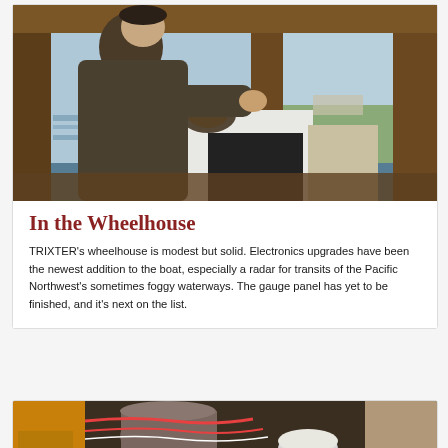[Figure (photo): A man in a brown hoodie operating equipment in a boat wheelhouse, viewed from behind/side. Wooden trim, gauges and controls visible. Water and shoreline visible through windows.]
In the Wheelhouse
TRIXTER's wheelhouse is modest but solid. Electronics upgrades have been the newest addition to the boat, especially a radar for transits of the Pacific Northwest's sometimes foggy waterways. The gauge panel has yet to be finished, and it's next on the list.
[Figure (photo): Interior view of boat engine compartment or storage area showing various equipment, wiring, and a cylindrical tank.]